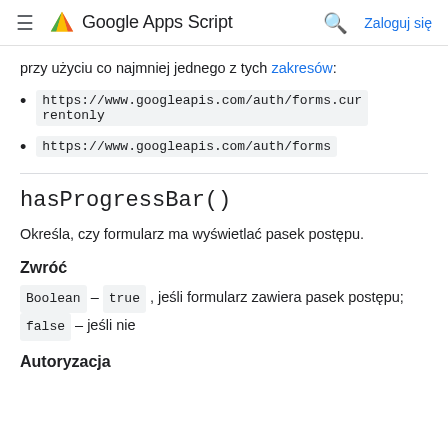≡  Google Apps Script  🔍  Zaloguj się
przy użyciu co najmniej jednego z tych zakresów:
https://www.googleapis.com/auth/forms.currentonly
https://www.googleapis.com/auth/forms
hasProgressBar()
Określa, czy formularz ma wyświetlać pasek postępu.
Zwróć
Boolean – true , jeśli formularz zawiera pasek postępu; false – jeśli nie
Autoryzacja